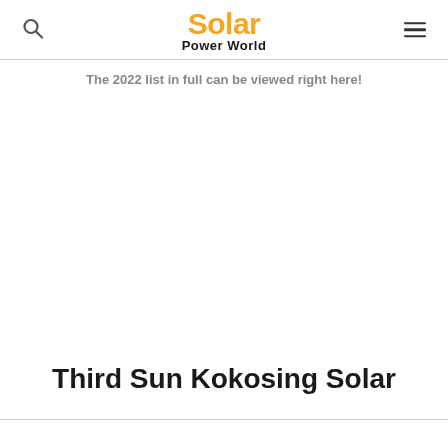Solar Power World
The 2022 list in full can be viewed right here!
Third Sun Kokosing Solar